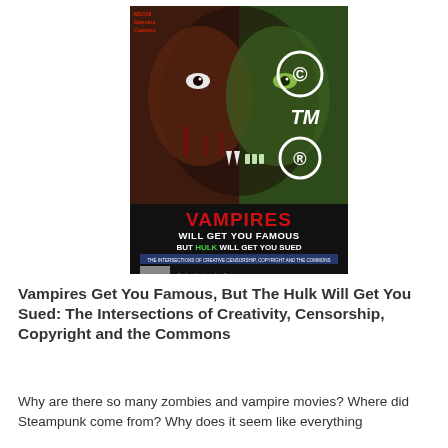[Figure (illustration): Poster image showing a split face — half vampire, half Hulk — with copyright symbols (©, TM, ®) overlaid. Text reads: VAMPIRES WILL GET YOU FAMOUS BUT HULK WILL GET YOU SUED. The Intersections of Creative Censorship, Copyright and the Commons. Small label MS119 Danvers Campus in top left.]
Vampires Get You Famous, But The Hulk Will Get You Sued: The Intersections of Creativity, Censorship, Copyright and the Commons
Why are there so many zombies and vampire movies? Where did Steampunk come from? Why does it seem like everything